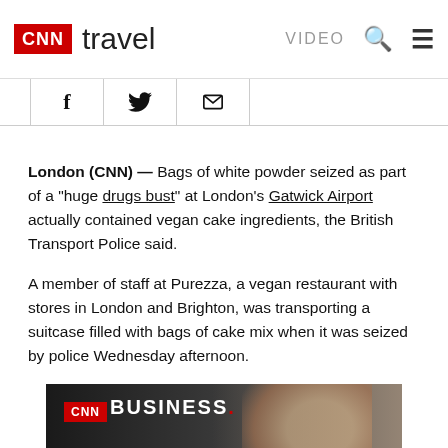CNN travel | VIDEO
[Figure (other): Social share icons: Facebook, Twitter, Email]
London (CNN) — Bags of white powder seized as part of a "huge drugs bust" at London's Gatwick Airport actually contained vegan cake ingredients, the British Transport Police said.
A member of staff at Purezza, a vegan restaurant with stores in London and Brighton, was transporting a suitcase filled with bags of cake mix when it was seized by police Wednesday afternoon.
[Figure (advertisement): CNN Business advertisement banner with woman's photo]